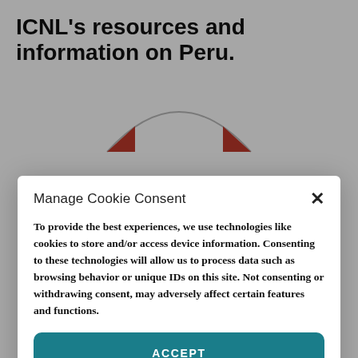ICNL's resources and information on Peru.
[Figure (logo): ICNL logo showing a red and grey arch/dome shape]
Manage Cookie Consent
To provide the best experiences, we use technologies like cookies to store and/or access device information. Consenting to these technologies will allow us to process data such as browsing behavior or unique IDs on this site. Not consenting or withdrawing consent, may adversely affect certain features and functions.
ACCEPT
DENY
Privacy Policy & Terms of Use